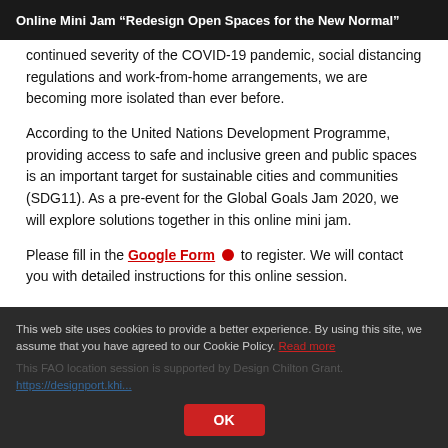Online Mini Jam “Redesign Open Spaces for the New Normal”
continued severity of the COVID-19 pandemic, social distancing regulations and work-from-home arrangements, we are becoming more isolated than ever before.
According to the United Nations Development Programme, providing access to safe and inclusive green and public spaces is an important target for sustainable cities and communities (SDG11). As a pre-event for the Global Goals Jam 2020, we will explore solutions together in this online mini jam.
Please fill in the Google Form ● to register. We will contact you with detailed instructions for this online session.
This web site uses cookies to provide a better experience. By using this site, we assume that you have agreed to our Cookie Policy. Read more
This FAO location session is supported by Design Chilton Grant.
https://designport.khi...